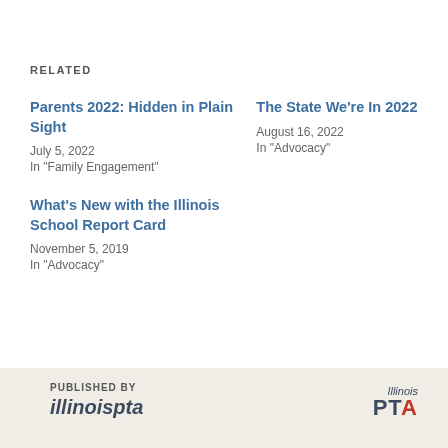RELATED
Parents 2022: Hidden in Plain Sight
July 5, 2022
In "Family Engagement"
The State We’re In 2022
August 16, 2022
In "Advocacy"
What’s New with the Illinois School Report Card
November 5, 2019
In "Advocacy"
PUBLISHED BY illinoispta